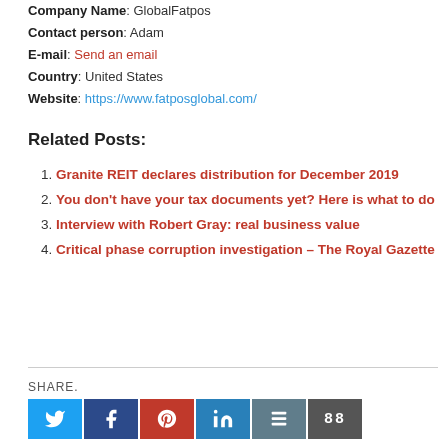Company Name: GlobalFatpos
Contact person: Adam
E-mail: Send an email
Country: United States
Website: https://www.fatposglobal.com/
Related Posts:
Granite REIT declares distribution for December 2019
You don't have your tax documents yet? Here is what to do
Interview with Robert Gray: real business value
Critical phase corruption investigation – The Royal Gazette
SHARE.